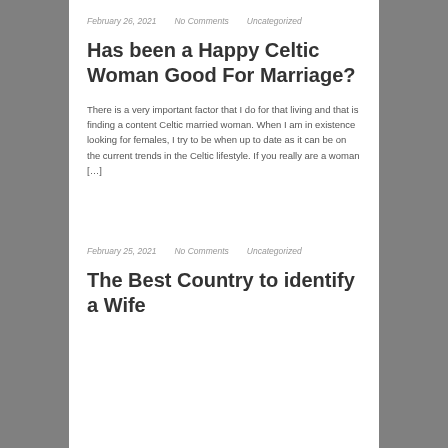February 26, 2021   No Comments   Uncategorized
Has been a Happy Celtic Woman Good For Marriage?
There is a very important factor that I do for that living and that is finding a content Celtic married woman. When I am in existence looking for females, I try to be when up to date as it can be on the current trends in the Celtic lifestyle. If you really are a woman […]
February 25, 2021   No Comments   Uncategorized
The Best Country to identify a Wife